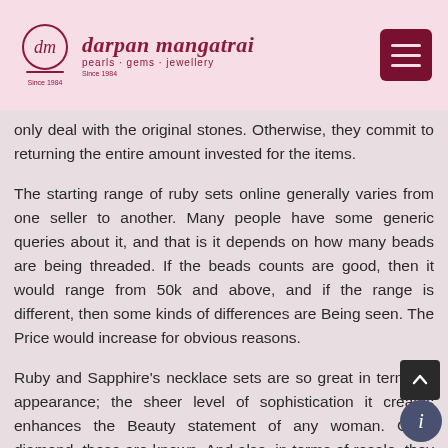darpan mangatrai — pearls · gems · jewellery
only deal with the original stones. Otherwise, they commit to returning the entire amount invested for the items.
The starting range of ruby sets online generally varies from one seller to another. Many people have some generic queries about it, and that is it depends on how many beads are being threaded. If the beads counts are good, then it would range from 50k and above, and if the range is different, then some kinds of differences are Being seen. The Price would increase for obvious reasons.
Ruby and Sapphire's necklace sets are so great in terms of appearance; the sheer level of sophistication it creates enhances the Beauty statement of any woman. Gold, diamond, these are known. And also, in terms of resale, they give a handsome prince, but ruby, in general, is not being resold, which captures the idea of exclusivity.